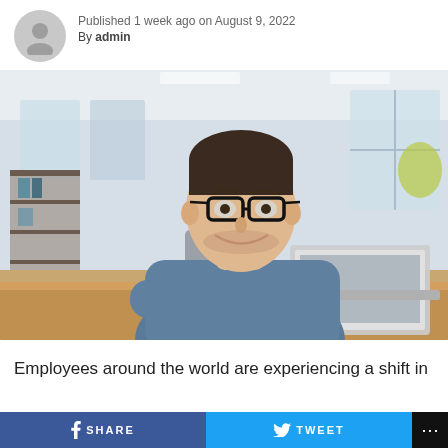Published 1 week ago on August 9, 2022
By admin
[Figure (photo): Smiling man with glasses sitting at a wooden desk in an office, with a laptop open in front of him. Shelves and windows visible in the background.]
Employees around the world are experiencing a shift in